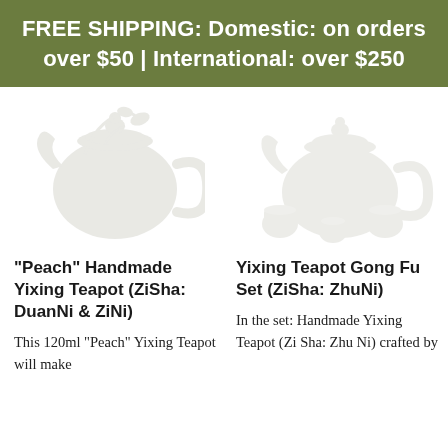FREE SHIPPING: Domestic: on orders over $50 | International: over $250
[Figure (illustration): Faint watermark-style illustration of a Yixing teapot (left product)]
"Peach" Handmade Yixing Teapot (ZiSha: DuanNi & ZiNi)
This 120ml "Peach" Yixing Teapot will make
[Figure (illustration): Faint watermark-style illustration of a Yixing Teapot Gong Fu Set (right product)]
Yixing Teapot Gong Fu Set (ZiSha: ZhuNi)
In the set: Handmade Yixing Teapot (Zi Sha: Zhu Ni) crafted by